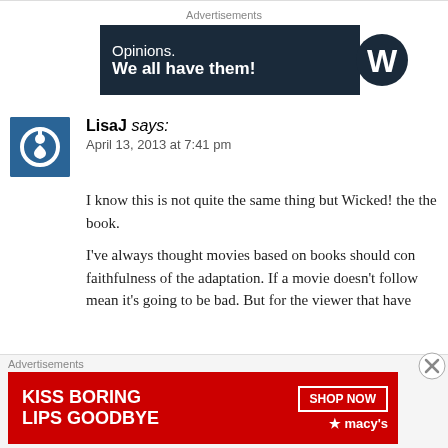[Figure (screenshot): Top advertisement banner: dark navy background with text 'Opinions. We all have them!' and WordPress logo (W in circle)]
LisaJ says:
April 13, 2013 at 7:41 pm
I know this is not quite the same thing but Wicked! the the book.
I've always thought movies based on books should con faithfulness of the adaptation. If a movie doesn't follow mean it's going to be bad. But for the viewer that have adjust your expectations accordingly.
[Figure (screenshot): Bottom advertisement banner: red background with 'KISS BORING LIPS GOODBYE', 'SHOP NOW' button, and Macy's star logo]